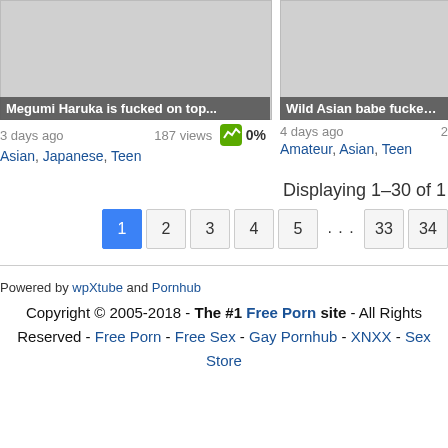[Figure (screenshot): Thumbnail placeholder for 'Megumi Haruka is fucked on top...' video]
[Figure (screenshot): Thumbnail placeholder for 'Wild Asian babe fucked while...' video]
3 days ago   187 views   0%
4 days ago
Asian, Japanese, Teen
Amateur, Asian, Teen
Displaying 1–30 of 1
1 2 3 4 5 ... 33 34
Powered by wpXtube and Pornhub
Copyright © 2005-2018 - The #1 Free Porn site - All Rights Reserved - Free Porn - Free Sex - Gay Pornhub - XNXX - Sex Store